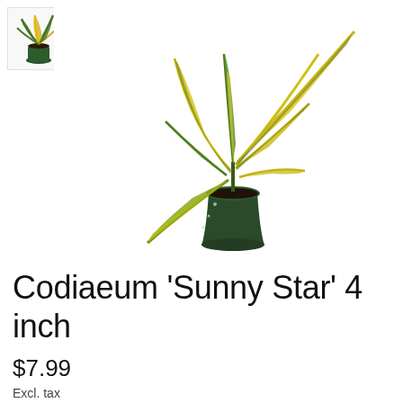[Figure (photo): Small thumbnail image of a Codiaeum Sunny Star plant with green and yellow variegated leaves in a dark green pot, shown in upper left corner]
[Figure (photo): Main product photo of a Codiaeum 'Sunny Star' croton plant with long narrow green and yellow variegated leaves growing in a dark green plastic nursery pot, set against a white background]
Codiaeum 'Sunny Star' 4 inch
$7.99
Excl. tax